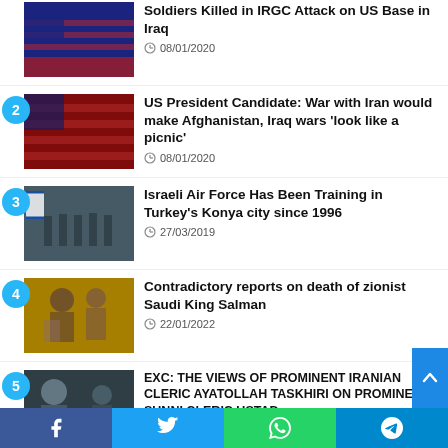Soldiers Killed in IRGC Attack on US Base in Iraq
08/01/2020
US President Candidate: War with Iran would make Afghanistan, Iraq wars 'look like a picnic'
08/01/2020
Israeli Air Force Has Been Training in Turkey's Konya city since 1996
27/03/2019
Contradictory reports on death of zionist Saudi King Salman
22/01/2022
EXC: THE VIEWS OF PROMINENT IRANIAN CLERIC AYATOLLAH TASKHIRI ON PROMINENT SUNNI CLERIC USTAD
Facebook | Twitter | WhatsApp | Telegram